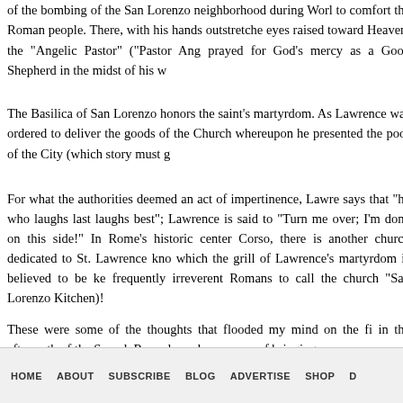of the bombing of the San Lorenzo neighborhood during World War II, to comfort the Roman people. There, with his hands outstretched and eyes raised toward Heaven, the "Angelic Pastor" ("Pastor Angelicus") prayed for God's mercy as a Good Shepherd in the midst of his w
The Basilica of San Lorenzo honors the saint's martyrdom. As the story goes, Lawrence was ordered to deliver the goods of the Church to the authorities, whereupon he presented the poor of the City (which story must g
For what the authorities deemed an act of impertinence, Lawrence — as the saying says that "he who laughs last laughs best"; Lawrence is said to have quipped, "Turn me over; I'm done on this side!" In Rome's historic center along the Corso, there is another church dedicated to St. Lawrence known as San Lorenzo in Lucina, in which the grill of Lawrence's martyrdom is believed to be kept. This led the frequently irreverent Romans to call the church "San Lorenzo in Lucina" (In the Kitchen)!
These were some of the thoughts that flooded my mind on the first days of October, in the aftermath of the Synod. Rome has a happy way of bringing
[Figure (other): Twitter Tweet button]
HOME   ABOUT   SUBSCRIBE   BLOG   ADVERTISE   SHOP   D